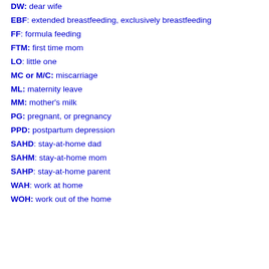DW: dear wife
EBF: extended breastfeeding, exclusively breastfeeding
FF: formula feeding
FTM: first time mom
LO: little one
MC or M/C: miscarriage
ML: maternity leave
MM: mother's milk
PG: pregnant, or pregnancy
PPD: postpartum depression
SAHD: stay-at-home dad
SAHM: stay-at-home mom
SAHP: stay-at-home parent
WAH: work at home
WOH: work out of the home